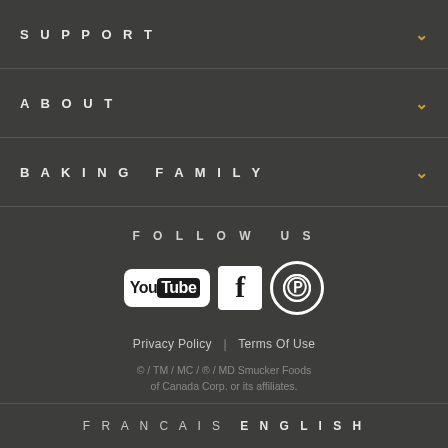SUPPORT
ABOUT
BAKING FAMILY
FOLLOW US
[Figure (logo): Social media icons: YouTube, Facebook, Pinterest]
Privacy Policy | Terms Of Use
© / TM / MC / ® / MD Smucker Foods of Canada Corp. or its affiliates.
FRANCAIS   ENGLISH